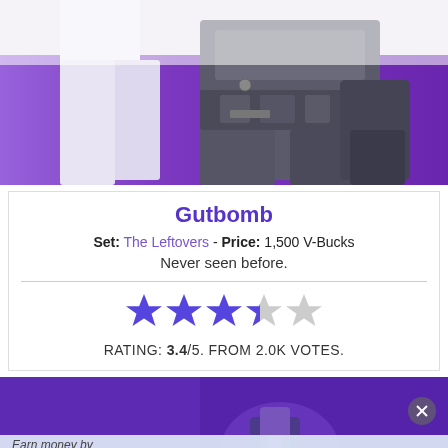[Figure (photo): Fortnite character skin (Gutbomb) shown from waist down on a purple gradient background, wearing dark tactical gear and body armor]
Gutbomb
Set: The Leftovers - Price: 1,500 V-Bucks
Never seen before.
[Figure (infographic): Star rating display showing 3.4 out of 5 stars (3 full blue stars, 1 partial blue star, 1 grey star)]
RATING: 3.4/5. FROM 2.0K VOTES.
[Figure (photo): Fortnite character or item on a dark purple background, partially visible, with advertisement overlay at the bottom reading 'Earn money by sharing your opinions' with a Sign Up button]